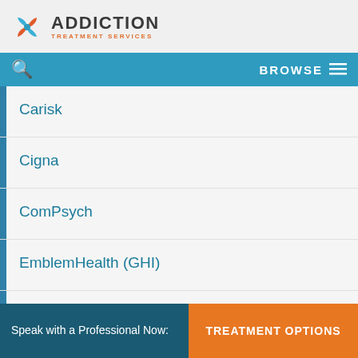[Figure (logo): Addiction Treatment Services logo with pinwheel icon in blue and orange]
BROWSE
Carisk
Cigna
ComPsych
EmblemHealth (GHI)
First Health
Health Net
Speak with a Professional Now:
TREATMENT OPTIONS